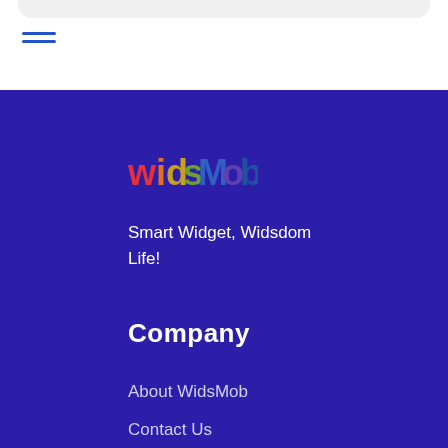[Figure (logo): Hamburger menu icon (three horizontal blue lines)]
[Figure (logo): WidsMob logo with colorful stylized text on dark blue background]
Smart Widget, Widsdom Life!
Company
About WidsMob
Contact Us